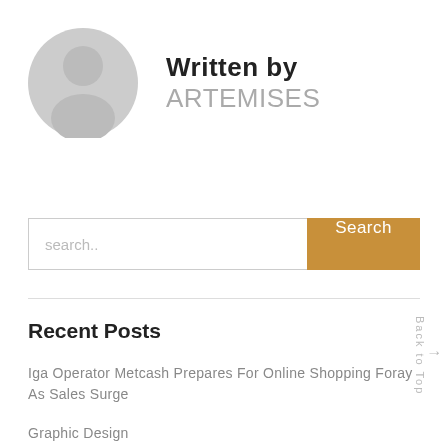[Figure (illustration): Gray circular avatar placeholder icon with silhouette of a person]
Written by ARTEMISES
search..
Search
Recent Posts
Iga Operator Metcash Prepares For Online Shopping Foray As Sales Surge
Graphic Design
Belanja Online Untuk Gadget Keren, Printer 3d Di Banggo8d
Back to Top